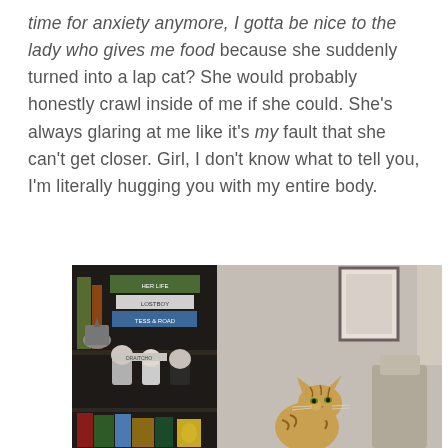time for anxiety anymore, I gotta be nice to the lady who gives me food because she suddenly turned into a lap cat? She would probably honestly crawl inside of me if she could. She's always glaring at me like it's my fault that she can't get closer. Girl, I don't know what to tell you, I'm literally hugging you with my entire body.
[Figure (photo): A photo showing a dark bookshelf on the left with books (including ones labeled 'LOSTBOY' and 'Tess of the Road') and Funko Pop figures, and a tabby cat sitting on a cat tree or chair on the right side of the image, with a beige/gray wall and a framed picture in the background.]